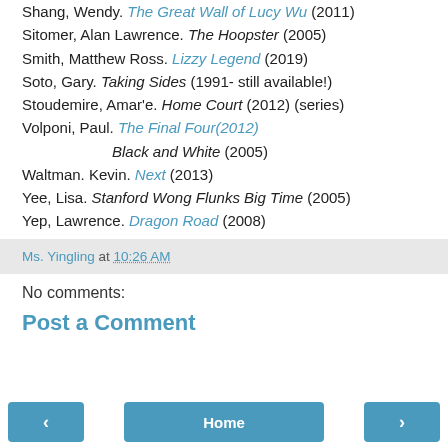Shang, Wendy. The Great Wall of Lucy Wu (2011)
Sitomer, Alan Lawrence. The Hoopster (2005)
Smith, Matthew Ross. Lizzy Legend (2019)
Soto, Gary. Taking Sides (1991- still available!)
Stoudemire, Amar'e. Home Court (2012) (series)
Volponi, Paul. The Final Four (2012)
Black and White (2005)
Waltman. Kevin. Next (2013)
Yee, Lisa. Stanford Wong Flunks Big Time (2005)
Yep, Lawrence. Dragon Road (2008)
Ms. Yingling at 10:26 AM
No comments:
Post a Comment
‹ | Home | ›